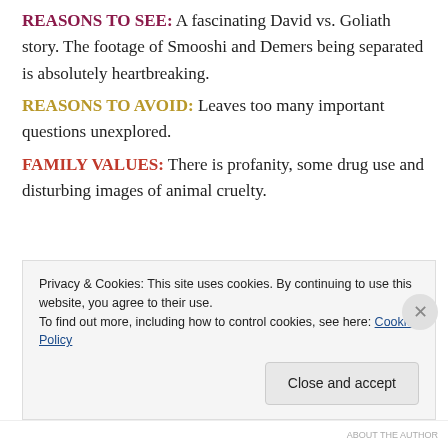REASONS TO SEE: A fascinating David vs. Goliath story. The footage of Smooshi and Demers being separated is absolutely heartbreaking.
REASONS TO AVOID: Leaves too many important questions unexplored.
FAMILY VALUES: There is profanity, some drug use and disturbing images of animal cruelty.
Privacy & Cookies: This site uses cookies. By continuing to use this website, you agree to their use. To find out more, including how to control cookies, see here: Cookie Policy
ABOUT THE AUTHOR